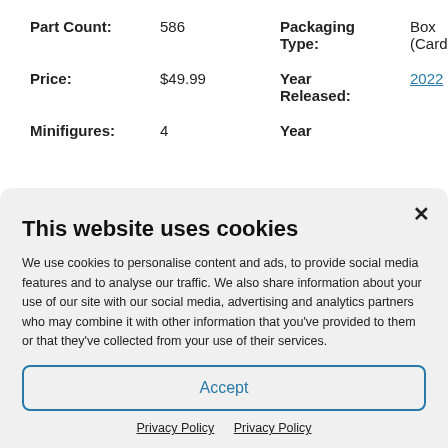| Part Count: | 586 | Packaging Type: | Box (Cardboard) |
| Price: | $49.99 | Year Released: | 2022 |
| Minifigures: | 4 | Year |  |
This website uses cookies
We use cookies to personalise content and ads, to provide social media features and to analyse our traffic. We also share information about your use of our site with our social media, advertising and analytics partners who may combine it with other information that you've provided to them or that they've collected from your use of their services.
Accept
Privacy Policy   Privacy Policy